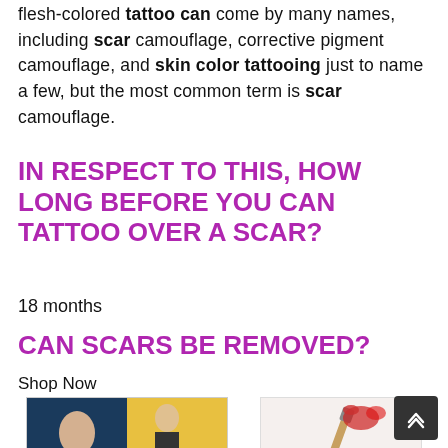flesh-colored tattoo can come by many names, including scar camouflage, corrective pigment camouflage, and skin color tattooing just to name a few, but the most common term is scar camouflage.
IN RESPECT TO THIS, HOW LONG BEFORE YOU CAN TATTOO OVER A SCAR?
18 months
CAN SCARS BE REMOVED?
Shop Now
[Figure (photo): Movie poster or collage image with two people]
[Figure (photo): Image of a piercing needle or tool with text PIERCING]